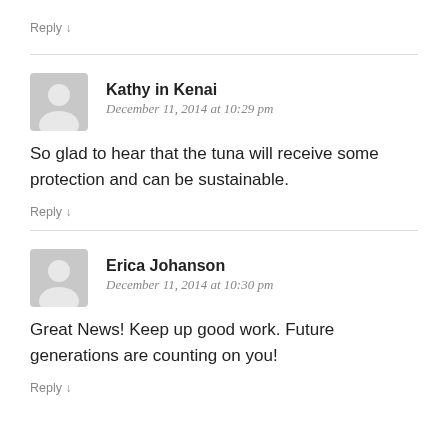Reply ↓
Kathy in Kenai
December 11, 2014 at 10:29 pm
So glad to hear that the tuna will receive some protection and can be sustainable.
Reply ↓
Erica Johanson
December 11, 2014 at 10:30 pm
Great News! Keep up good work. Future generations are counting on you!
Reply ↓